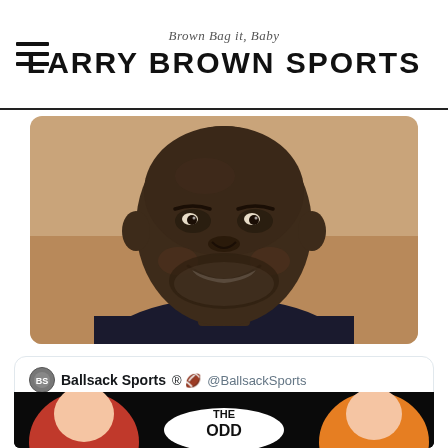Brown Bag it, Baby — LARRY BROWN SPORTS
[Figure (photo): Close-up portrait photo of a smiling Black man with a shaved head and grey stubble beard, wearing a dark jacket, against a warm beige background.]
Ballsack Sports ® 🏈 @BallsackSports
Come on man 😭😭😭